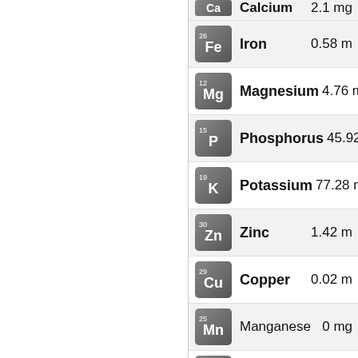| Element | Mineral | Amount |
| --- | --- | --- |
| Ca (Calcium) | Calcium | ...mg |
| Fe (Iron) | Iron | 0.58 m |
| Mg (Magnesium) | Magnesium | 4.76 m |
| P (Phosphorus) | Phosphorus | 45.92 m |
| K (Potassium) | Potassium | 77.28 m |
| Zn (Zinc) | Zinc | 1.42 m |
| Cu (Copper) | Copper | 0.02 m |
| Mn (Manganese) | Manganese | 0 mg |
| Se (Selenium) | Selenium | 4.56 m |